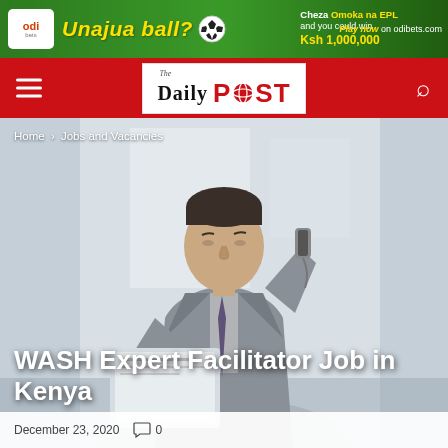[Figure (other): ODI Bets advertisement banner: green background with 'Unajua ball?' headline in yellow, soccer ball, person figure, text 'Cheza Omoka na EPL and you could win Ksh 1,000,000', 'Play now on odibets.com']
The Daily POST
[Figure (photo): Professional man in grey suit holding a phone to his ear and looking down at a laptop or tablet, standing in a bright office environment]
Home › Jobs and Vacancies
WASH Expert Facilitator Job in Kenya
December 23, 2020   🗨 0